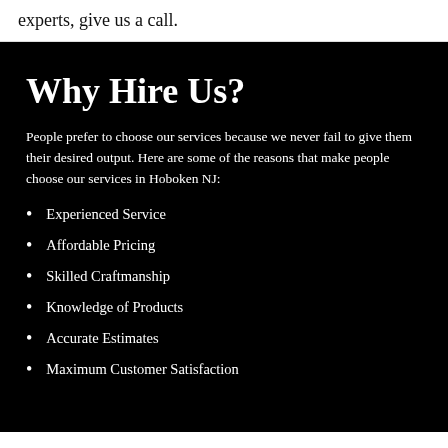experts, give us a call.
Why Hire Us?
People prefer to choose our services because we never fail to give them their desired output. Here are some of the reasons that make people choose our services in Hoboken NJ:
Experienced Service
Affordable Pricing
Skilled Craftmanship
Knowledge of Products
Accurate Estimates
Maximum Customer Satisfaction